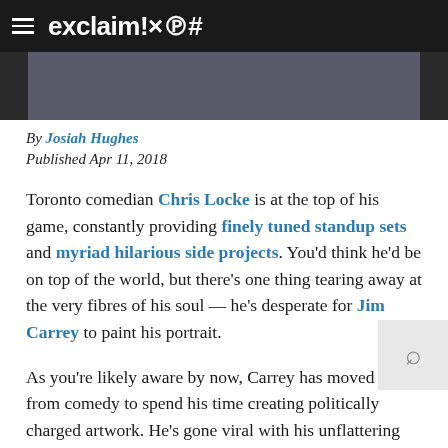exclaim!×℗#
[Figure (photo): Partial photo of a person, cropped, dark background, magazine header image]
By Josiah Hughes
Published Apr 11, 2018
Toronto comedian Chris Locke is at the top of his game, constantly providing finely tuned standup sets and myriad hilarious side projects. You'd think he'd be on top of the world, but there's one thing tearing away at the very fibres of his soul — he's desperate for Jim Carrey to paint his portrait.
As you're likely aware by now, Carrey has moved on from comedy to spend his time creating politically charged artwork. He's gone viral with his unflattering depictions of Sarah Huckabee Sanders and Donald Trump, among others, and Locke wants in on the action.